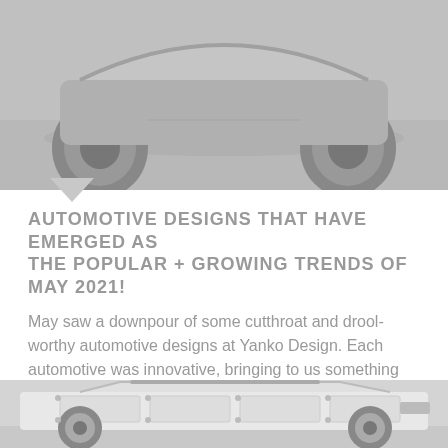[Figure (photo): Top portion of image showing a vehicle (SUV/truck) from below, grayscale, wheels visible on pavement]
AUTOMOTIVE DESIGNS THAT HAVE EMERGED AS THE POPULAR + GROWING TRENDS OF MAY 2021!
May saw a downpour of some cutthroat and drool-worthy automotive designs at Yanko Design. Each automotive was innovative, bringing to us something we had never…
AUTOMOTIVE, PRODUCT DESIGN
[Figure (photo): Bottom image showing a futuristic white off-road vehicle from the side, grayscale, with angular design elements]